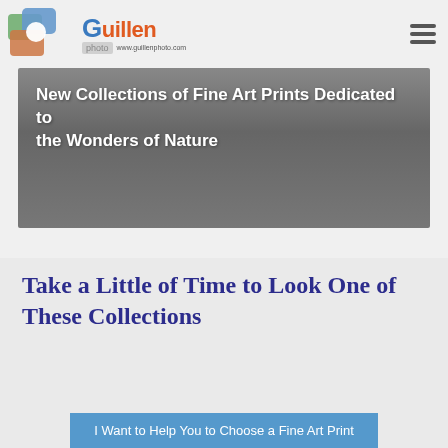Guillen photo www.guillenphoto.com
New Collections of Fine Art Prints Dedicated to the Wonders of Nature
Take a Little of Time to Look One of These Collections
I Want to Help You to Choose a Fine Art Print